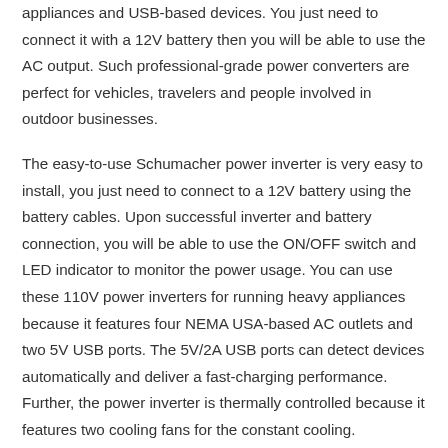appliances and USB-based devices. You just need to connect it with a 12V battery then you will be able to use the AC output. Such professional-grade power converters are perfect for vehicles, travelers and people involved in outdoor businesses.
The easy-to-use Schumacher power inverter is very easy to install, you just need to connect to a 12V battery using the battery cables. Upon successful inverter and battery connection, you will be able to use the ON/OFF switch and LED indicator to monitor the power usage. You can use these 110V power inverters for running heavy appliances because it features four NEMA USA-based AC outlets and two 5V USB ports. The 5V/2A USB ports can detect devices automatically and deliver a fast-charging performance. Further, the power inverter is thermally controlled because it features two cooling fans for the constant cooling. Additionally, it is surge protected to protect against voltage irregularity.
Best features and specifications